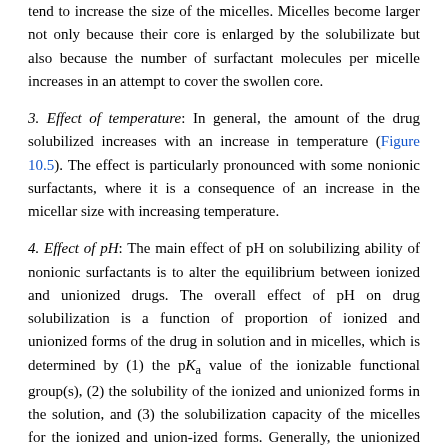tend to increase the size of the micelles. Micelles become larger not only because their core is enlarged by the solubilizate but also because the number of surfactant molecules per micelle increases in an attempt to cover the swollen core.
3. Effect of temperature: In general, the amount of the drug solubilized increases with an increase in temperature (Figure 10.5). The effect is particularly pronounced with some nonionic surfactants, where it is a consequence of an increase in the micellar size with increasing temperature.
4. Effect of pH: The main effect of pH on solubilizing ability of nonionic surfactants is to alter the equilibrium between ionized and unionized drugs. The overall effect of pH on drug solubilization is a function of proportion of ionized and unionized forms of the drug in solution and in micelles, which is determined by (1) the pKa value of the ionizable functional group(s), (2) the solubility of the ionized and unionized forms in the solution, and (3) the solubilization capacity of the micelles for the ionized and union-ized forms. Generally, the unionized form is the more hydrophobic form and is solubilized to a greater extent in the micelles than the ionized form.